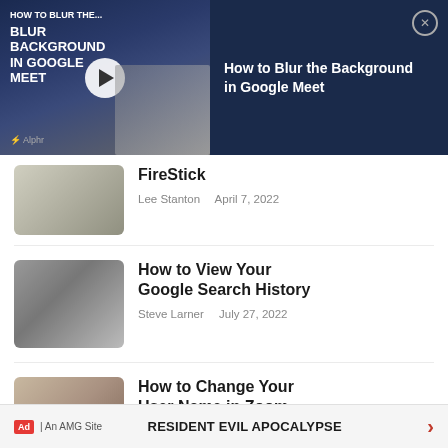[Figure (screenshot): Video overlay banner for 'How to Blur the Background in Google Meet' on a dark navy background with a thumbnail showing the video title and a play button, plus a close button]
How to Blur the Background in Google Meet
[Figure (photo): Thumbnail image of a FireStick device]
FireStick
Lee Stanton    April 7, 2022
[Figure (photo): Thumbnail image of a person using a laptop with Google open]
How to View Your Google Search History
Steve Larner    July 27, 2022
[Figure (photo): Thumbnail image of a person on a Zoom call]
How to Change Your User Name in Zoom
RESIDENT EVIL APOCALYPSE  Ad  An AMG Site